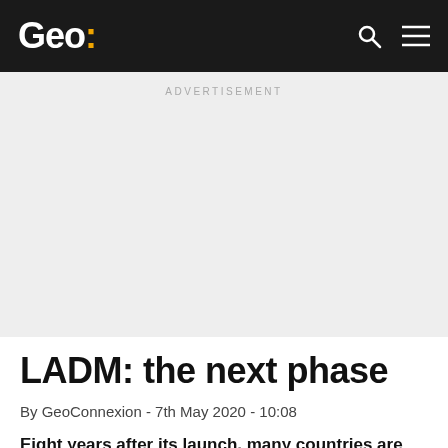Geo:
ADVERTISEMENT
LADM: the next phase
By GeoConnexion - 7th May 2020 - 10:08
Eight years after its launch, many countries are using